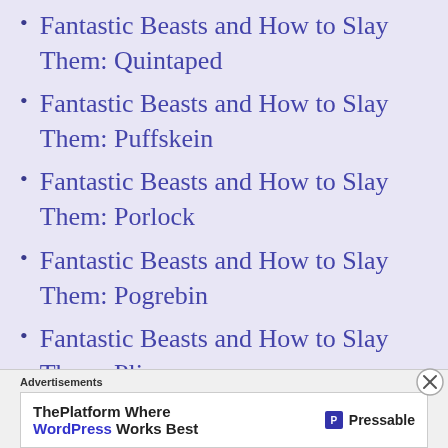Fantastic Beasts and How to Slay Them: Quintaped
Fantastic Beasts and How to Slay Them: Puffskein
Fantastic Beasts and How to Slay Them: Porlock
Fantastic Beasts and How to Slay Them: Pogrebin
Fantastic Beasts and How to Slay Them: Plimpy
Fantastic Beasts and How to Slay Them: Phoenix
Advertisements
ThePlatform Where WordPress Works Best  Pressable